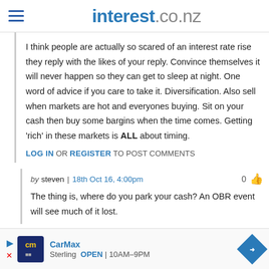interest.co.nz
I think people are actually so scared of an interest rate rise they reply with the likes of your reply. Convince themselves it will never happen so they can get to sleep at night. One word of advice if you care to take it. Diversification. Also sell when markets are hot and everyones buying. Sit on your cash then buy some bargins when the time comes. Getting 'rich' in these markets is ALL about timing.
LOG IN OR REGISTER TO POST COMMENTS
by steven | 18th Oct 16, 4:00pm
The thing is, where do you park your cash? An OBR event will see much of it lost.
[Figure (other): CarMax advertisement banner showing CarMax logo, Sterling location, OPEN 10AM-9PM hours]